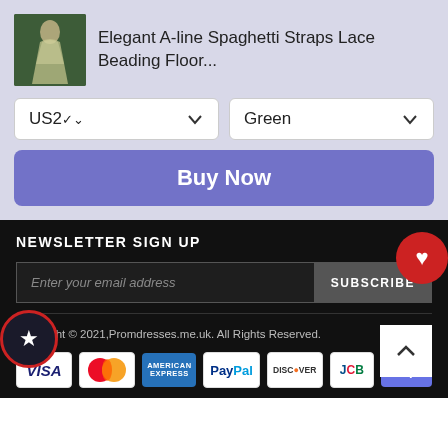[Figure (screenshot): Product thumbnail showing a woman in a green dress]
Elegant A-line Spaghetti Straps Lace Beading Floor...
US2 (dropdown)
Green (dropdown)
Buy Now
NEWSLETTER SIGN UP
Enter your email address
SUBSCRIBE
Copyright © 2021,Promdresses.me.uk. All Rights Reserved.
[Figure (infographic): Payment method icons: VISA, MasterCard, American Express, PayPal, Discover, JCB, Stripe]